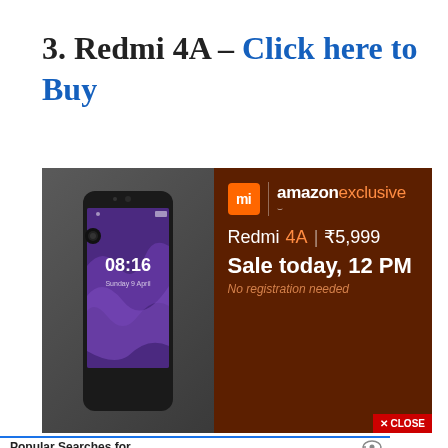3. Redmi 4A – Click here to Buy
[Figure (photo): Redmi 4A product advertisement showing the smartphone on the left against a dark gray background, and on the right a brown/dark red background with Mi logo, Amazon Exclusive text, Redmi 4A price ₹5,999, Sale today 12 PM, No registration needed, and a CLOSE button.]
Popular Searches for
Advertisements
[Figure (photo): Macy's advertisement: KISS BORING LIPS GOODBYE with a woman wearing red lipstick, and a SHOP NOW button with Macy's star logo.]